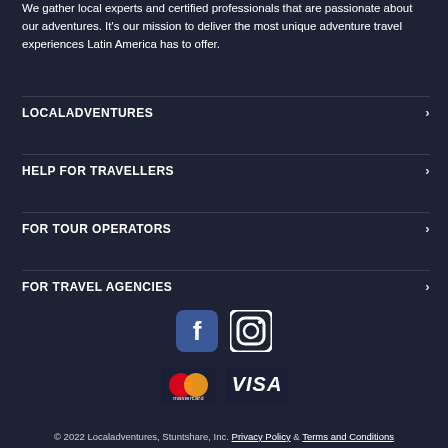We gather local experts and certified professionals that are passionate about our adventures. It's our mission to deliver the most unique adventure travel experiences Latin America has to offer.
LOCALADVENTURES
HELP FOR TRAVELLERS
FOR TOUR OPERATORS
FOR TRAVEL AGENCIES
[Figure (logo): Facebook and Instagram social media icons]
[Figure (logo): Mastercard and Visa payment logos]
© 2022 Localadventures, Stuntshare, Inc. Privacy Policy & Terms and Conditions